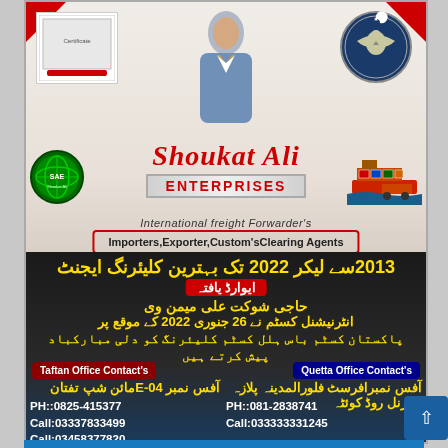[Figure (infographic): Shoukat Ali Enterprises business card/advertisement with company logos, person photo, Urdu text about clearing agent award 2013-2022, and contact information for Taftan and Quetta offices]
Shoukat Ali ENTERPRISES
International freight Forwarder's
Importers,Exporter,Custom'sClearing Agents
2013 سے لیکر 2022 تک بہترین کلیئرنگ ایجنٹ ایوارڈ یافتہ
حاجی شوکت علی میمن وی
انٹرنیشنل کسٹم نے 26 جنوری 2022 کے موقع پر پاکستان کسٹم باس ہلل کسٹم کلیئرنگ کو دلی مبارکباد پیش کرتے ہیں
Taftan Office Contact's
Quetta Office Contact's
آفس نمبر E-04 مائن شپ تفتان
PH::0825-415377
Call:03337833499
Call:03458377820
آفس نمبرافرسٹ فلورالمدینہ پلازہ چوزنل روڈ کوئٹہ
PH::081-2838741
Call:033333331245